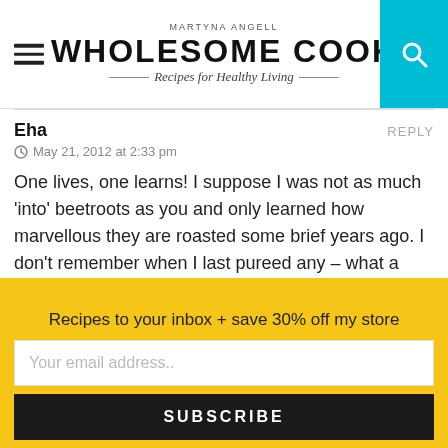MARTYNA ANGELL WHOLESOME COOK Recipes for Healthy Living
Eha
May 21, 2012 at 2:33 pm
One lives, one learns! I suppose I was not as much 'into' beetroots as you and only learned how marvellous they are roasted some brief years ago. I don't remember when I last pureed any – what a fabulous idea with my next purchase! Thanks!
rsmacaalay
May 21, 2012 at 5:18 pm
Recipes to your inbox + save 30% off my store
Your email address..
SUBSCRIBE